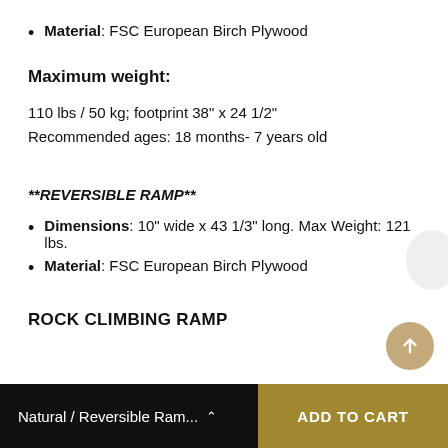Material: FSC European Birch Plywood
Maximum weight:
110 lbs / 50 kg; footprint 38" x 24 1/2"
Recommended ages: 18 months- 7 years old
**REVERSIBLE RAMP**
Dimensions: 10" wide x 43 1/3" long. Max Weight: 121 lbs.
Material: FSC European Birch Plywood
ROCK CLIMBING RAMP
Natural / Reversible Ram...   ADD TO CART